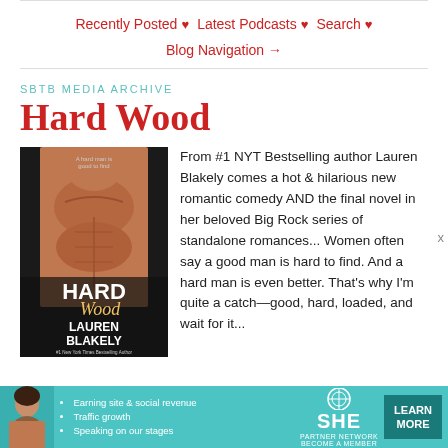Recently Posted ♥ Latest Podcasts ♥ Search ♥ Blog Navigation →
SBTB MEDIA ARCHIVE
Hard Wood
[Figure (photo): Book cover for 'Hard Wood' by Lauren Blakely — shows a shirtless muscular man, with text 'A hard man is good to find', 'HARD Wood', and 'LAUREN BLAKELY' with subtitle '#1 New York Times Bestselling Author']
From #1 NYT Bestselling author Lauren Blakely comes a hot & hilarious new romantic comedy AND the final novel in her beloved Big Rock series of standalone romances... Women often say a good man is hard to find. And a hard man is even better. That's why I'm quite a catch—good, hard, loaded, and wait for it...
[Figure (infographic): SHE Partner Network advertisement banner — teal background, woman photo on left, bullet points: Earning site & social revenue, Traffic growth, Speaking on our stages. SHE logo with gear icon. LEARN MORE button in dark teal. BECOME A MEMBER text.]